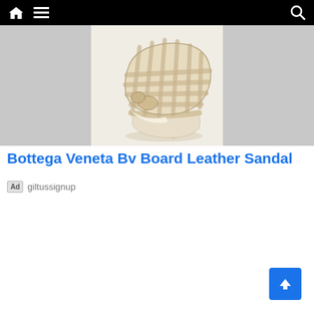Navigation bar with home, menu, and search icons
[Figure (photo): Bottega Veneta BV Board Leather Sandal - a cream/ivory woven leather high-heel sandal shown against a light background, with grey panels on left and right sides]
Bottega Veneta Bv Board Leather Sandal
Ad  giltussignup